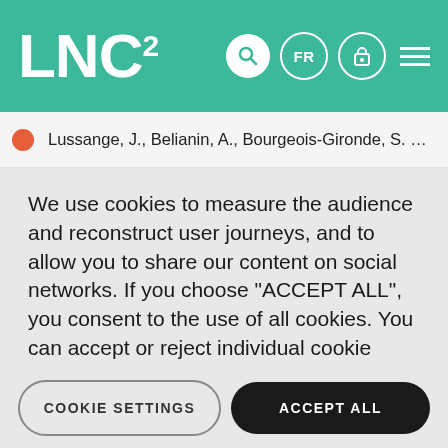LNC²
Lussange, J., Belianin, A., Bourgeois-Gironde, S. & Gutkin, B.
We use cookies to measure the audience and reconstruct user journeys, and to allow you to share our content on social networks. If you choose "ACCEPT ALL", you consent to the use of all cookies. You can accept or reject individual cookie types and revoke your consent for the future at any time under "Settings".
Privacy policy
Cookie Policy
COOKIE SETTINGS
ACCEPT ALL